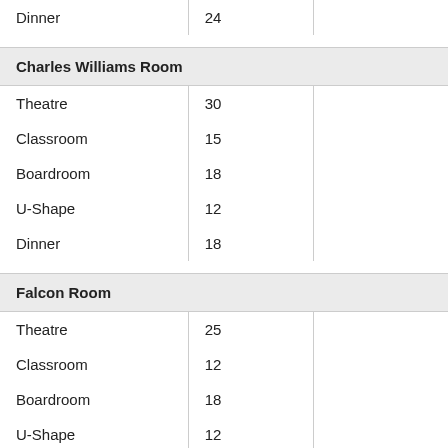| Setup | Capacity |  |
| --- | --- | --- |
| Dinner | 24 |  |
| Charles Williams Room |  |  |
| --- | --- | --- |
| Theatre | 30 |  |
| Classroom | 15 |  |
| Boardroom | 18 |  |
| U-Shape | 12 |  |
| Dinner | 18 |  |
| Falcon Room |  |  |
| --- | --- | --- |
| Theatre | 25 |  |
| Classroom | 12 |  |
| Boardroom | 18 |  |
| U-Shape | 12 |  |
| Dinner | 14 |  |